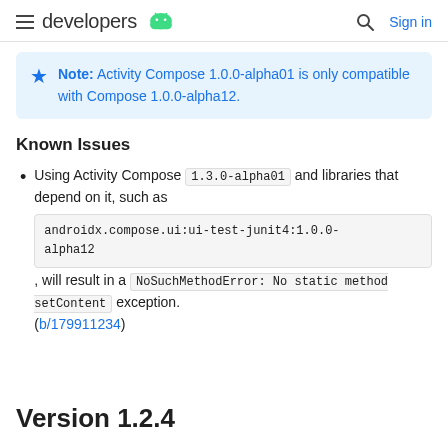developers [android icon] | Sign in
Note: Activity Compose 1.0.0-alpha01 is only compatible with Compose 1.0.0-alpha12.
Known Issues
Using Activity Compose 1.3.0-alpha01 and libraries that depend on it, such as androidx.compose.ui:ui-test-junit4:1.0.0-alpha12, will result in a NoSuchMethodError: No static method setContent exception. (b/179911234)
Version 1.2.4